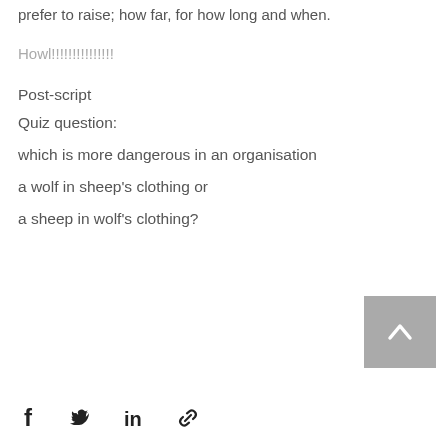prefer to raise; how far, for how long and when.
Howl!!!!!!!!!!!!!!!
Post-script
Quiz question:
which is more dangerous in an organisation
a wolf in sheep's clothing or
a sheep in wolf's clothing?